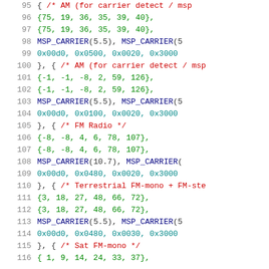Source code listing showing audio carrier configuration data, lines 95-116
95: { /* AM (for carrier detect / msp
96: {75, 19, 36, 35, 39, 40},
97: {75, 19, 36, 35, 39, 40},
98: MSP_CARRIER(5.5), MSP_CARRIER(5
99: 0x00d0, 0x0500, 0x0020, 0x3000
100: }, { /* AM (for carrier detect / msp
101: {-1, -1, -8, 2, 59, 126},
102: {-1, -1, -8, 2, 59, 126},
103: MSP_CARRIER(5.5), MSP_CARRIER(5
104: 0x00d0, 0x0100, 0x0020, 0x3000
105: }, { /* FM Radio */
106: {-8, -8, 4, 6, 78, 107},
107: {-8, -8, 4, 6, 78, 107},
108: MSP_CARRIER(10.7), MSP_CARRIER(
109: 0x00d0, 0x0480, 0x0020, 0x3000
110: }, { /* Terrestrial FM-mono + FM-ste
111: {3, 18, 27, 48, 66, 72},
112: {3, 18, 27, 48, 66, 72},
113: MSP_CARRIER(5.5), MSP_CARRIER(5
114: 0x00d0, 0x0480, 0x0030, 0x3000
115: }, { /* Sat FM-mono */
116: { 1, 9, 14, 24, 33, 37},